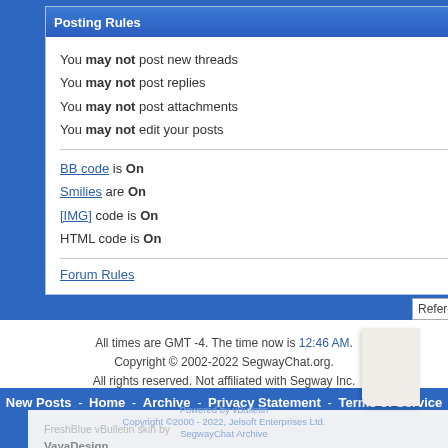Posting Rules
You may not post new threads
You may not post replies
You may not post attachments
You may not edit your posts
BB code is On
Smilies are On
[IMG] code is On
HTML code is On
Forum Rules
Forum Jump
Reference Information & How-To's
All times are GMT -4. The time now is 12:46 AM.
Copyright © 2002-2022 SegwayChat.org.
All rights reserved. Not affiliated with Segway Inc.
New Posts - Home - Archive - Privacy Statement - Terms of Service - Top
FreshBlue vBulletin skin by VayaDesign
Powered by vBulletin
Copyright ©2000 - 2022, Jelsoft Enterprises Ltd.
SegwayChat Archive